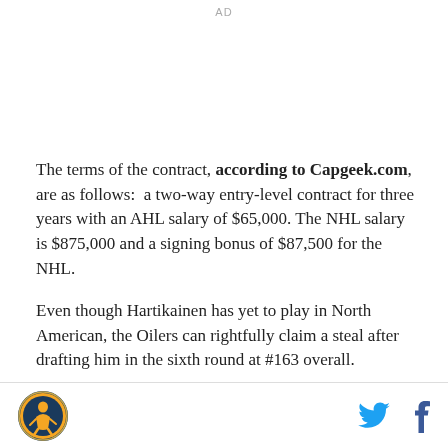AD
The terms of the contract, according to Capgeek.com, are as follows:  a two-way entry-level contract for three years with an AHL salary of $65,000. The NHL salary is $875,000 and a signing bonus of $87,500 for the NHL.
Even though Hartikainen has yet to play in North American, the Oilers can rightfully claim a steal after drafting him in the sixth round at #163 overall.